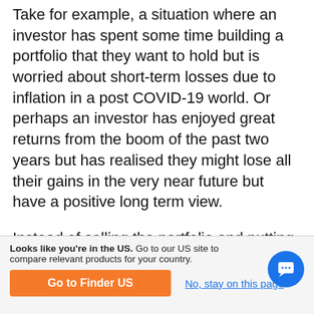Take for example, a situation where an investor has spent some time building a portfolio that they want to hold but is worried about short-term losses due to inflation in a post COVID-19 world. Or perhaps an investor has enjoyed great returns from the boom of the past two years but has realised they might lose all their gains in the very near future but have a positive long term view.
Instead of selling the portfolio and putting the money into assets such as gold, bonds or even a savings account, an investor can protect their money through CFDs.
Looks like you're in the US. Go to our US site to compare relevant products for your country. [Go to Finder US] [No, stay on this page]